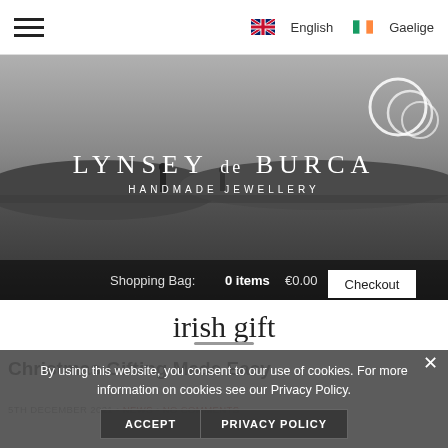☰   English   Gaelige
[Figure (screenshot): Hero banner photo of coastal landscape in black and white with brand name overlay: LYNSEY de BURCA HANDMADE JEWELLERY. Shopping bag bar shows 0 items €0.00 with Checkout button. Decorative ring logo in top right.]
irish gift
By using this website, you consent to our use of cookies. For more information on cookies see our Privacy Policy.
ACCEPT   PRIVACY POLICY
Christmas Gifting Made Easy
5TH DECEMBER 2021 • NEWS • NO COMMENTS